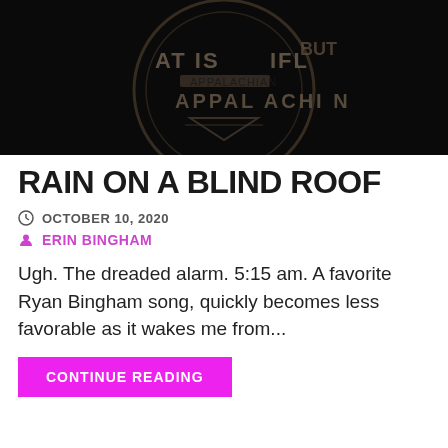[Figure (photo): Dark background photo showing a circular emblem/badge with text 'AT IS LIFE BUT APPALACHIAN' visible on a black surface]
RAIN ON A BLIND ROOF
OCTOBER 10, 2020
ERIN BINGHAM
Ugh. The dreaded alarm. 5:15 am. A favorite Ryan Bingham song, quickly becomes less favorable as it wakes me from...
CONTINUE READING